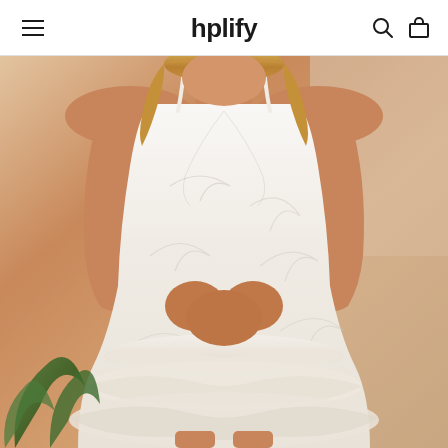hplify
[Figure (photo): Model wearing a white ruffle mini dress with spaghetti straps and leaf/botanical pattern texture, standing against a light background with green foliage visible at bottom left]